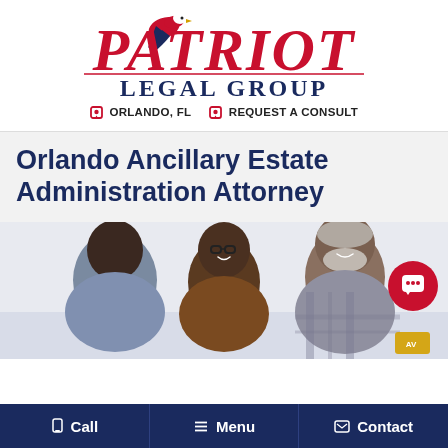[Figure (logo): Patriot Legal Group logo with eagle graphic and red italic PATRIOT text above dark blue LEGAL GROUP text]
📍 ORLANDO, FL   📍 REQUEST A CONSULT
Orlando Ancillary Estate Administration Attorney
[Figure (photo): Three people in a consultation setting; a man with his back turned on the left, a woman with glasses smiling in the middle, and an older bearded man smiling on the right]
Call   Menu   Contact